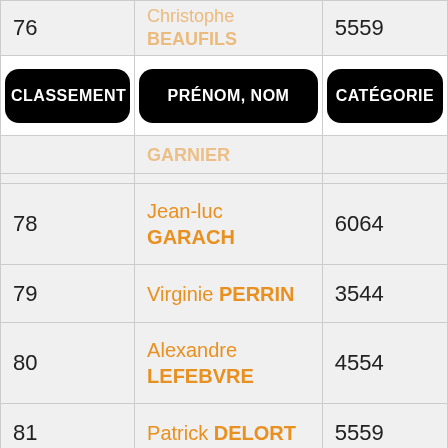| CLASSEMENT | PRÉNOM, NOM | CATÉGORIE |
| --- | --- | --- |
| 76 | Christophe BEAUFILS | 5559 |
|  | GARNIER |  |
| 78 | Jean-luc GARACH | 6064 |
| 79 | Virginie PERRIN | 3544 |
| 80 | Alexandre LEFEBVRE | 4554 |
| 81 | Patrick DELORT | 5559 |